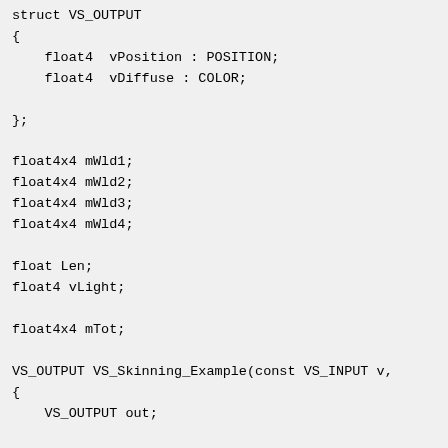struct VS_OUTPUT
{
    float4  vPosition : POSITION;
    float4  vDiffuse : COLOR;

};

float4x4 mWld1;
float4x4 mWld2;
float4x4 mWld3;
float4x4 mWld4;

float Len;
float4 vLight;

float4x4 mTot;

VS_OUTPUT VS_Skinning_Example(const VS_INPUT v,
{
    VS_OUTPUT out;

    // Skin position (to world space)
    float3 vPosition =
        mul(v.vPosition, (float4x3) mWld1) * v.v